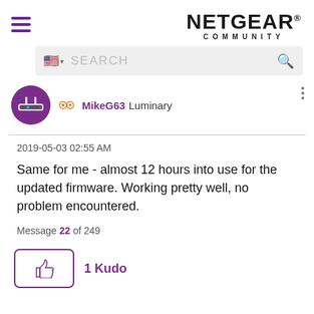NETGEAR COMMUNITY
MikeG63 Luminary
2019-05-03 02:55 AM
Same for me - almost 12 hours into use for the updated firmware. Working pretty well, no problem encountered.
Message 22 of 249
1 Kudo